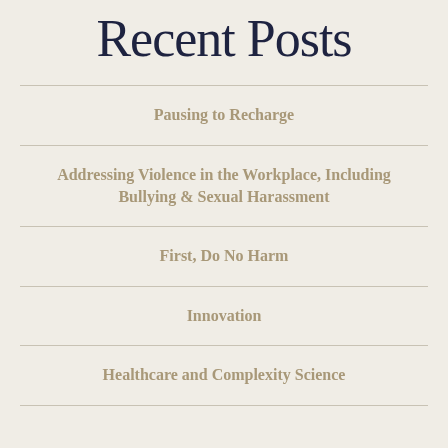Recent Posts
Pausing to Recharge
Addressing Violence in the Workplace, Including Bullying & Sexual Harassment
First, Do No Harm
Innovation
Healthcare and Complexity Science